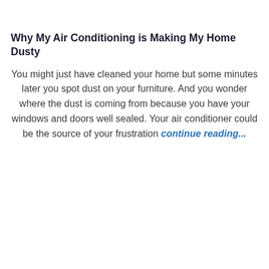Why My Air Conditioning is Making My Home Dusty
You might just have cleaned your home but some minutes later you spot dust on your furniture. And you wonder where the dust is coming from because you have your windows and doors well sealed. Your air conditioner could be the source of your frustration continue reading...